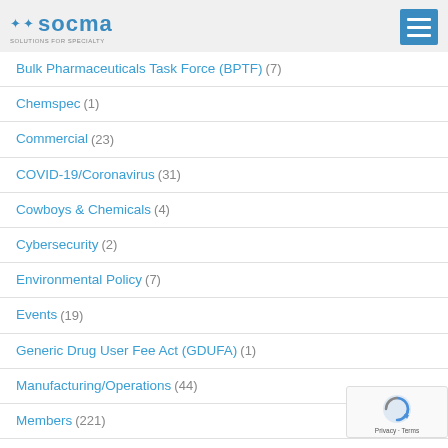SOCMA - Solutions for Specialty
Bulk Pharmaceuticals Task Force (BPTF) (7)
Chemspec (1)
Commercial (23)
COVID-19/Coronavirus (31)
Cowboys & Chemicals (4)
Cybersecurity (2)
Environmental Policy (7)
Events (19)
Generic Drug User Fee Act (GDUFA) (1)
Manufacturing/Operations (44)
Members (221)
Operations Training Tool (3)
Performance Improvement Awards (10)
Policy (67)